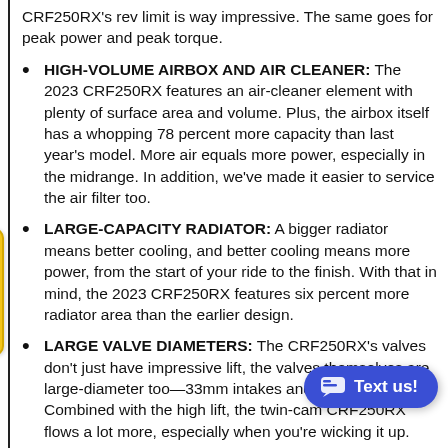CRF250RX's rev limit is way impressive. The same goes for peak power and peak torque.
HIGH-VOLUME AIRBOX AND AIR CLEANER: The 2023 CRF250RX features an air-cleaner element with plenty of surface area and volume. Plus, the airbox itself has a whopping 78 percent more capacity than last year's model. More air equals more power, especially in the midrange. In addition, we've made it easier to service the air filter too.
LARGE-CAPACITY RADIATOR: A bigger radiator means better cooling, and better cooling means more power, from the start of your ride to the finish. With that in mind, the 2023 CRF250RX features six percent more radiator area than the earlier design.
LARGE VALVE DIAMETERS: The CRF250RX's valves don't just have impressive lift, the valves themselves are large-diameter too—33mm intakes and 26mm exhausts. Combined with the high lift, the twin-cam CRF250RX flows a lot more, especially when you're wicking it up.
HIGH-PERFORMANCE CAM PROFILES: With input